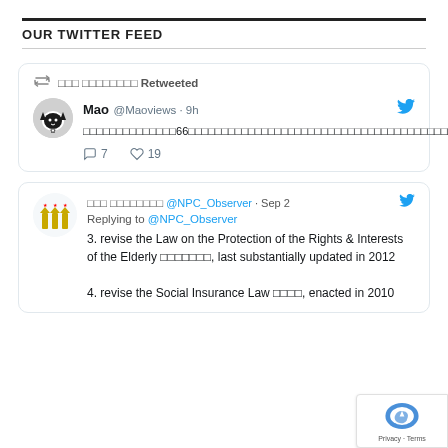OUR TWITTER FEED
□□□ □□□□□□□□ Retweeted
Mao @Maoviews · 9h
[Chinese text tweet body]
7 replies 19 likes
□□□ □□□□□□□□ @NPC_Observer · Sep 2
Replying to @NPC_Observer
3. revise the Law on the Protection of the Rights & Interests of the Elderly □□□□□□□, last substantially updated in 2012

4. revise the Social Insurance Law □□□□, enacted in 2010